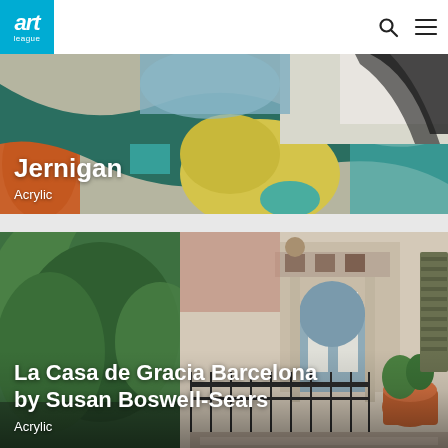[Figure (logo): Art League logo: white 'art' italic text and 'league' text on cyan/teal blue square background]
[Figure (illustration): Abstract acrylic painting by Jernigan with bold colors — orange, teal, yellow-green, blue-gray, white, and dark lines — partial title visible]
Jernigan
Acrylic
[Figure (illustration): Acrylic painting 'La Casa de Gracia Barcelona' by Susan Boswell-Sears showing a building with arched windows, wrought-iron balcony, lush green trees on the left, warm terracotta tones]
La Casa de Gracia Barcelona by Susan Boswell-Sears
Acrylic